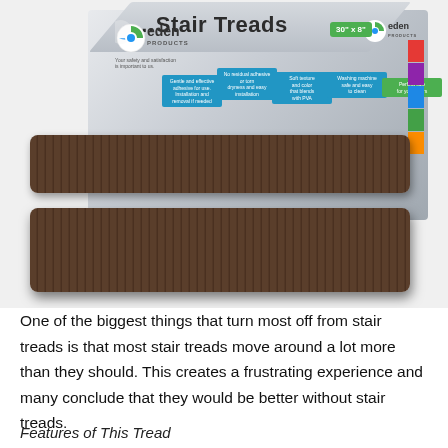[Figure (photo): Product photo showing Eden Products stair treads packaging box (white/gray box with blue and green feature tabs, Eden logo, '30 x 8' green badge) alongside two brown ribbed carpet stair tread mats placed in front of the box.]
One of the biggest things that turn most off from stair treads is that most stair treads move around a lot more than they should. This creates a frustrating experience and many conclude that they would be better without stair treads.
Features of This Tread